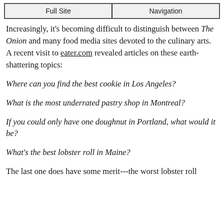Full Site | Navigation
Increasingly, it's becoming difficult to distinguish between The Onion and many food media sites devoted to the culinary arts. A recent visit to eater.com revealed articles on these earth-shattering topics:
Where can you find the best cookie in Los Angeles?
What is the most underrated pastry shop in Montreal?
If you could only have one doughnut in Portland, what would it be?
What's the best lobster roll in Maine?
The last one does have some merit---the worst lobster roll